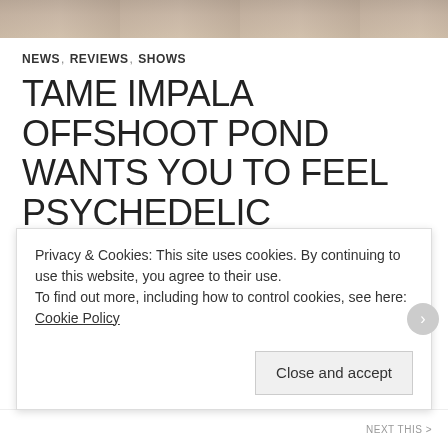[Figure (photo): Top banner image showing people in a scene, cropped to a thin horizontal strip at the top of the page]
NEWS, REVIEWS, SHOWS
TAME IMPALA OFFSHOOT POND WANTS YOU TO FEEL PSYCHEDELIC
APRIL 13, 2017  IANVALIENTE  LEAVE A COMMENT
By Ian Valiente
If you're a fan of Tame Impala, then you must have heard of Pond. And if you're going to the Casbah Saturday night, then y…
Privacy & Cookies: This site uses cookies. By continuing to use this website, you agree to their use.
To find out more, including how to control cookies, see here: Cookie Policy
Close and accept